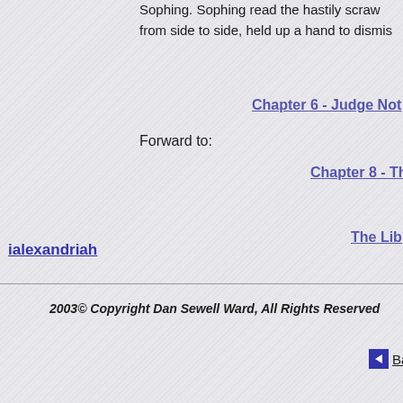Sophing. Sophing read the hastily scraw from side to side, held up a hand to dismis
Chapter 6 - Judge Not
Forward to:
Chapter 8 - Th
The Lib
ialexandriah
2003© Copyright Dan Sewell Ward, All Rights Reserved
Ba